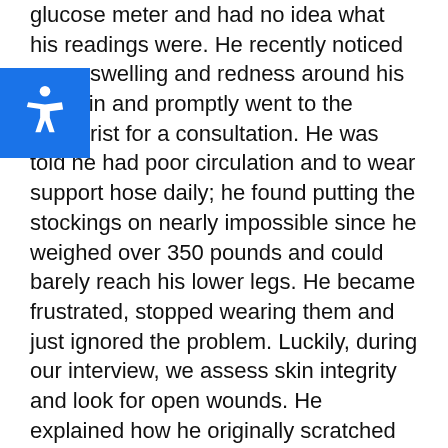glucose meter and had no idea what his readings were. He recently noticed some swelling and redness around his left shin and promptly went to the podiatrist for a consultation. He was told he had poor circulation and to wear support hose daily; he found putting the stockings on nearly impossible since he weighed over 350 pounds and could barely reach his lower legs. He became frustrated, stopped wearing them and just ignored the problem. Luckily, during our interview, we assess skin integrity and look for open wounds. He explained how he originally scratched his lower leg while flaking off a patch of dry skin. It was now about a month since his original scratch which he thought would amount to nothing. His A1C was 9.5% (he did not understand what that meant) and his fasting sugar that morning was 340 mg/dl. I